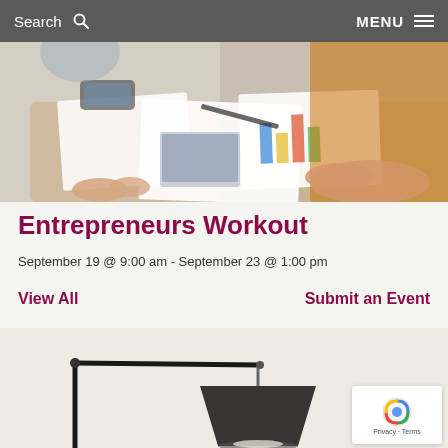Search  MENU
[Figure (photo): Two people reviewing documents and charts at a table, viewed from above, one person in orange wearing yellow]
Entrepreneurs Workout
September 19 @ 9:00 am - September 23 @ 1:00 pm
View All    Submit an Event
[Figure (photo): Black adjustable floor lamp with dark grey conical shade against light background]